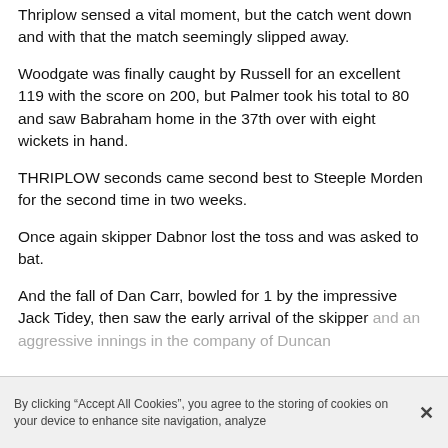Thriplow sensed a vital moment, but the catch went down and with that the match seemingly slipped away.
Woodgate was finally caught by Russell for an excellent 119 with the score on 200, but Palmer took his total to 80 and saw Babraham home in the 37th over with eight wickets in hand.
THRIPLOW seconds came second best to Steeple Morden for the second time in two weeks.
Once again skipper Dabnor lost the toss and was asked to bat.
And the fall of Dan Carr, bowled for 1 by the impressive Jack Tidey, then saw the early arrival of the skipper and an aggressive innings in the company of Duncan
By clicking “Accept All Cookies”, you agree to the storing of cookies on your device to enhance site navigation, analyze